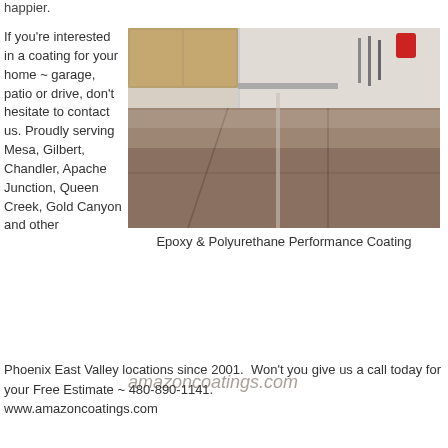happier.
If you're interested in a coating for your home ~ garage, patio or drive, don't hesitate to contact us. Proudly serving Mesa, Gilbert, Chandler, Apache Junction, Queen Creek, Gold Canyon and other Phoenix East Valley locations since 2001.  Won't you give us a call today for your Free Estimate ~ 480-890-1141.
www.amazoncoatings.com
[Figure (photo): Glossy epoxy-coated garage floor with brown/taupe finish, showing clean lines and high sheen. Garage cabinets, tools hanging on wall visible in background. Watermark text 'amazoncoatings.com' overlaid on image.]
Epoxy & Polyurethane Performance Coating